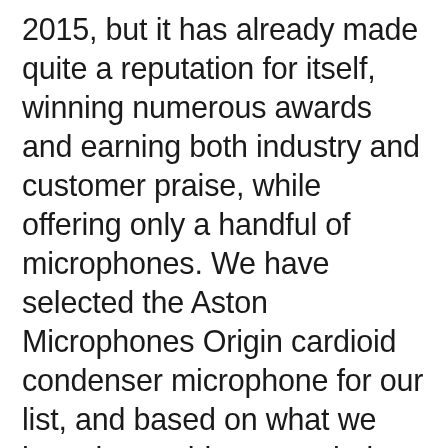2015, but it has already made quite a reputation for itself, winning numerous awards and earning both industry and customer praise, while offering only a handful of microphones. We have selected the Aston Microphones Origin cardioid condenser microphone for our list, and based on what we have been able to conclude, all the hype surrounding the brand has been justified. It costs around $300 dollars, which puts it somewhere in the middle of the range, but when it comes to sound, it has often been compared to the iconic Neumann U 87, which says a lot about it.